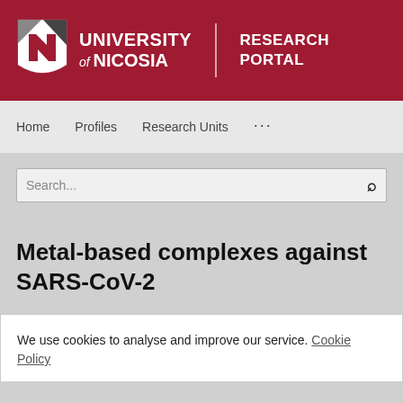[Figure (logo): University of Nicosia Research Portal logo with shield emblem on dark red background]
Home  Profiles  Research Units  ...
Search...
Metal-based complexes against SARS-CoV-2
We use cookies to analyse and improve our service. Cookie Policy